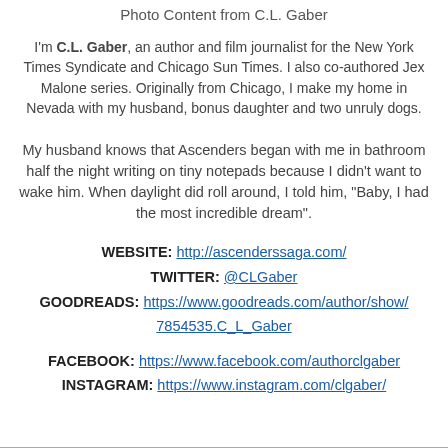Photo Content from C.L. Gaber
I'm C.L. Gaber, an author and film journalist for the New York Times Syndicate and Chicago Sun Times. I also co-authored Jex Malone series. Originally from Chicago, I make my home in Nevada with my husband, bonus daughter and two unruly dogs.
My husband knows that Ascenders began with me in bathroom half the night writing on tiny notepads because I didn't want to wake him. When daylight did roll around, I told him, "Baby, I had the most incredible dream".
WEBSITE: http://ascenderssaga.com/ TWITTER: @CLGaber GOODREADS: https://www.goodreads.com/author/show/7854535.C_L_Gaber
FACEBOOK: https://www.facebook.com/authorclgaber INSTAGRAM: https://www.instagram.com/clgaber/